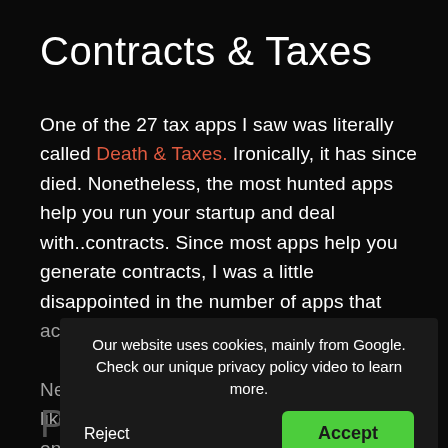Contracts & Taxes
One of the 27 tax apps I saw was literally called Death & Taxes. Ironically, it has since died. Nonetheless, the most hunted apps help you run your startup and deal with..contracts. Since most apps help you generate contracts, I was a little disappointed in the number of apps that actually help you understand them. Nonetheless, I was also struck by the beauty of some generators like this homegrown one: freecontract.com
Our website uses cookies, mainly from Google. Check our unique privacy policy video to learn more.
Reject
Accept
Privacy & Harmony